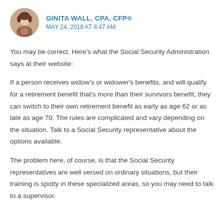GINITA WALL, CPA, CFP® — MAY 24, 2018 AT 8:47 AM
You may be correct. Here's what the Social Security Administration says at their website:
If a person receives widow's or widower's benefits, and will qualify for a retirement benefit that's more than their survivors benefit, they can switch to their own retirement benefit as early as age 62 or as late as age 70. The rules are complicated and vary depending on the situation. Talk to a Social Security representative about the options available.
The problem here, of course, is that the Social Security representatives are well versed on ordinary situations, but their training is spotty in these specialized areas, so you may need to talk to a supervisor.